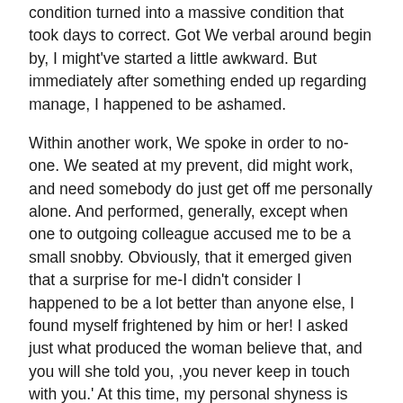condition turned into a massive condition that took days to correct. Got We verbal around begin by, I might've started a little awkward. But immediately after something ended up regarding manage, I happened to be ashamed.
Within another work, We spoke in order to no-one. We seated at my prevent, did might work, and need somebody do just get off me personally alone. And performed, generally, except when one to outgoing colleague accused me to be a small snobby. Obviously, that it emerged given that a surprise for me-I didn't consider I happened to be a lot better than anyone else, I found myself frightened by him or her! I asked just what produced the woman believe that, and you will she told you, ,you never keep in touch with you.' At this time, my personal shyness is providing my personal colleagues the wrong impression from the myself. I didn't that way.